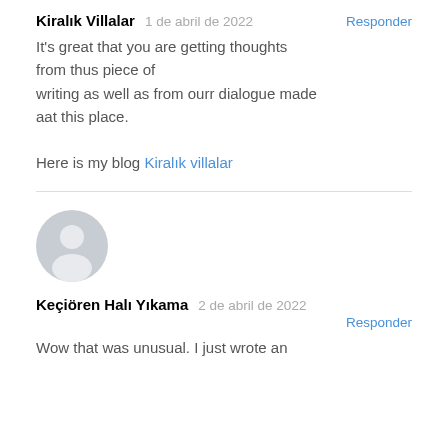Kiralık Villalar   1 de abril de 2022   Responder
It's great that you are getting thoughts from thus piece of writing as well as from ourr dialogue made aat this place.

Here is my blog Kiralık villalar
[Figure (illustration): Gray circular avatar placeholder icon with a person silhouette]
Keçiören Halı Yıkama   2 de abril de 2022   Responder
Wow that was unusual. I just wrote an